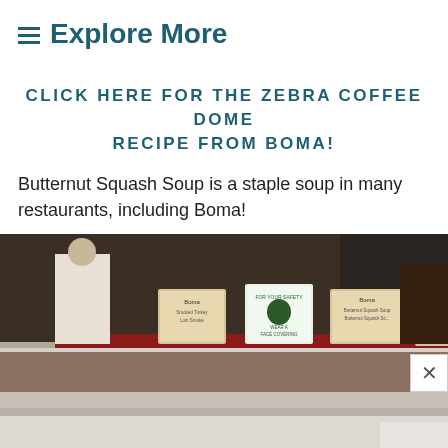≡ Explore More
CLICK HERE FOR THE ZEBRA COFFEE DOME RECIPE FROM BOMA!
Butternut Squash Soup is a staple soup in many restaurants, including Boma!
[Figure (photo): Photo of a restaurant buffet counter with menu signs, including Butternut Squash Soup and Moroccan Crab Stew labels from Boma restaurant]
[Figure (photo): Partial photo showing bottom portion of buffet area, light colored surface]